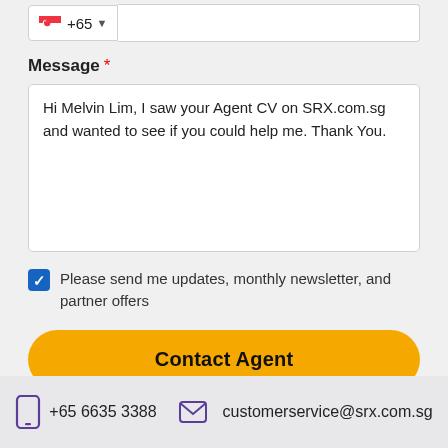Message *
Hi Melvin Lim, I saw your Agent CV on SRX.com.sg and wanted to see if you could help me. Thank You.
Please send me updates, monthly newsletter, and partner offers
Contact Agent
+65 6635 3388   customerservice@srx.com.sg